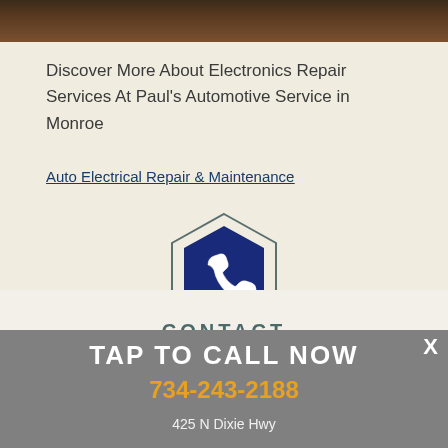[Figure (photo): Dark automotive background image strip at the top]
Discover More About Electronics Repair Services At Paul's Automotive Service in Monroe
Auto Electrical Repair & Maintenance
[Figure (illustration): Hexagonal phone icon badge with dark blue background and white telephone symbol, with 'CONTACT' text below]
TAP TO CALL NOW
734-243-2188
425 N Dixie Hwy